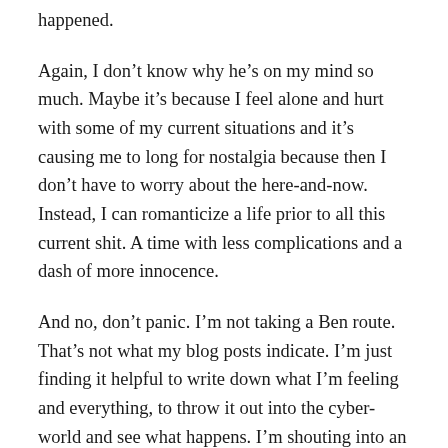happened.
Again, I don't know why he's on my mind so much. Maybe it's because I feel alone and hurt with some of my current situations and it's causing me to long for nostalgia because then I don't have to worry about the here-and-now. Instead, I can romanticize a life prior to all this current shit. A time with less complications and a dash of more innocence.
And no, don't panic. I'm not taking a Ben route. That's not what my blog posts indicate. I'm just finding it helpful to write down what I'm feeling and everything, to throw it out into the cyber-world and see what happens. I'm shouting into an echo chamber, I'm sure. This blog is just a way for me to understand and cope an try to make sense of what doesn't make sense now. It's a way for me to write